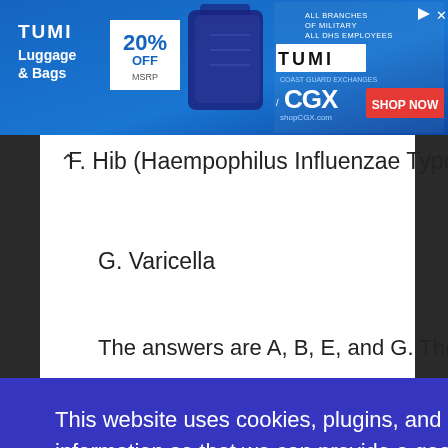[Figure (screenshot): TUMI advertisement banner showing luggage and bags with 20% off MSRP, featuring CGX military discount branding and SHOP NOW button]
F. Hib (Haempophilus Influenzae Type B)
G. Varicella
The answers are A, B, E, and G. The immunizations
This website uses cookies, plugins, and analytics software to collect basic information so that we can provide a good user experience. Do you consent to our privacy policy?
I Consent!
B. 3; 4 months